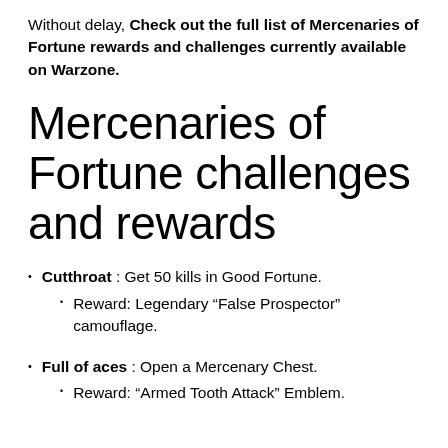Without delay, Check out the full list of Mercenaries of Fortune rewards and challenges currently available on Warzone.
Mercenaries of Fortune challenges and rewards
Cutthroat : Get 50 kills in Good Fortune.
Reward: Legendary “False Prospector” camouflage.
Full of aces : Open a Mercenary Chest.
Reward: “Armed Tooth Attack” Emblem.